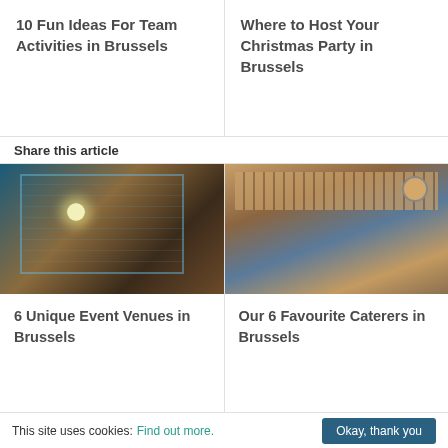10 Fun Ideas For Team Activities in Brussels
Where to Host Your Christmas Party in Brussels
Share this article
[Figure (photo): Interior of an industrial-style event venue with glass block wall and colorful lighting]
[Figure (photo): Modern lounge area with leather sofas, wooden slat wall, and clock — a caterer or venue in Brussels]
6 Unique Event Venues in Brussels
Our 6 Favourite Caterers in Brussels
This site uses cookies: Find out more. Okay, thank you